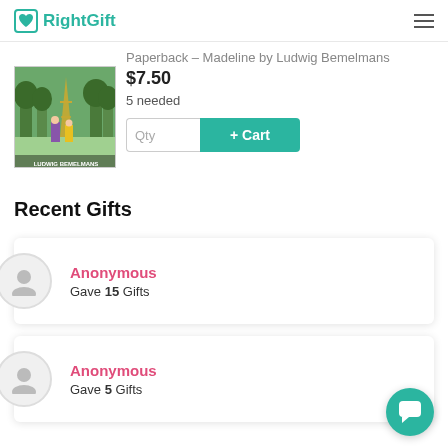RightGift
[Figure (illustration): Book cover for Madeline by Ludwig Bemelmans showing Eiffel Tower and trees]
Madeline
Paperback – Madeline by Ludwig Bemelmans
$7.50
5 needed
Recent Gifts
Anonymous
Gave 15 Gifts
Anonymous
Gave 5 Gifts